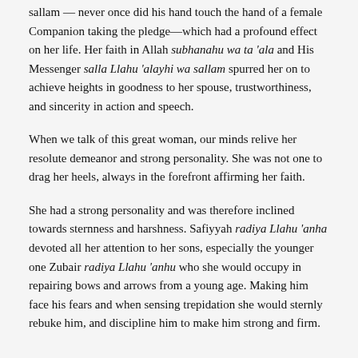sallam — never once did his hand touch the hand of a female Companion taking the pledge—which had a profound effect on her life. Her faith in Allah subhanahu wa ta 'ala and His Messenger salla Llahu 'alayhi wa sallam spurred her on to achieve heights in goodness to her spouse, trustworthiness, and sincerity in action and speech.
When we talk of this great woman, our minds relive her resolute demeanor and strong personality. She was not one to drag her heels, always in the forefront affirming her faith.
She had a strong personality and was therefore inclined towards sternness and harshness. Safiyyah radiya Llahu 'anha devoted all her attention to her sons, especially the younger one Zubair radiya Llahu 'anhu who she would occupy in repairing bows and arrows from a young age. Making him face his fears and when sensing trepidation she would sternly rebuke him, and discipline him to make him strong and firm.